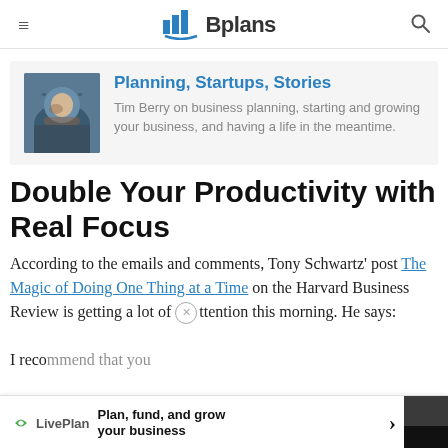≡  Bplans  🔍
[Figure (illustration): Blog banner with photo of Tim Berry (bearded man) on left, blog title and description on right]
Planning, Startups, Stories
Tim Berry on business planning, starting and growing your business, and having a life in the meantime.
Double Your Productivity with Real Focus
According to the emails and comments, Tony Schwartz' post The Magic of Doing One Thing at a Time on the Harvard Business Review is getting a lot of attention this morning. He says:
I reco...
[Figure (infographic): LivePlan advertisement bar: Plan, fund, and grow your business with arrow and thumbnail image]